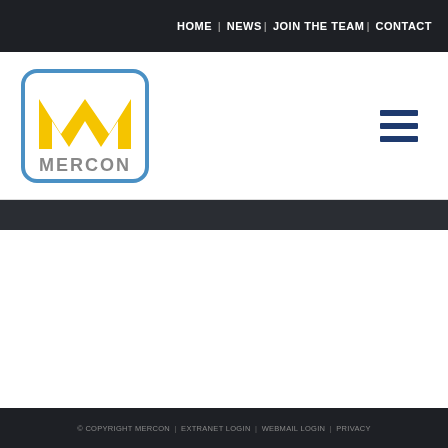HOME | NEWS | JOIN THE TEAM | CONTACT
[Figure (logo): Mercon logo: white rounded rectangle with blue border containing a yellow M shape above the word MERCON in grey]
© COPYRIGHT MERCON | EXTRANET LOGIN | WEBMAIL LOGIN | PRIVACY